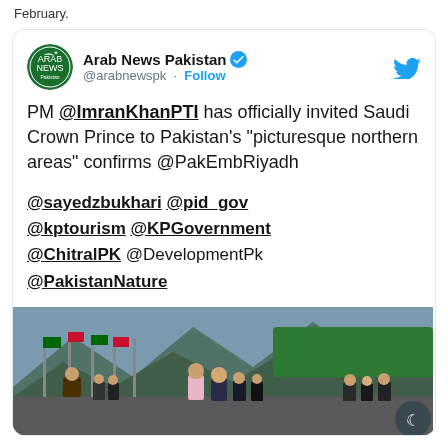February.
[Figure (screenshot): Embedded tweet from Arab News Pakistan (@arabnewspk) with verified badge and Follow button. Tweet text: PM @ImranKhanPTI has officially invited Saudi Crown Prince to Pakistan's "picturesque northern areas" confirms @PakEmbRiyadh. Hashtags: @sayedzbukhari @pid_gov @kptourism @KPGovernment @ChitralPK @DevelopmentPk @PakistanNature. Below tweet is a photo of Imran Khan and Saudi Crown Prince with officials at an outdoor ceremony.]